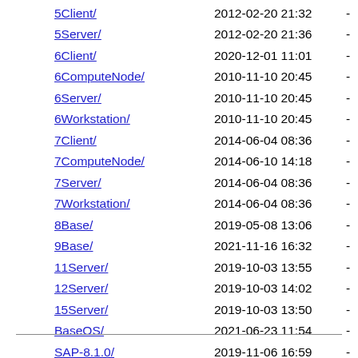5Client/   2012-02-20 21:32   -
5Server/   2012-02-20 21:36   -
6Client/   2020-12-01 11:01   -
6ComputeNode/   2010-11-10 20:45   -
6Server/   2010-11-10 20:45   -
6Workstation/   2010-11-10 20:45   -
7Client/   2014-06-04 08:36   -
7ComputeNode/   2014-06-10 14:18   -
7Server/   2014-06-04 08:36   -
7Workstation/   2014-06-04 08:36   -
8Base/   2019-05-08 13:06   -
9Base/   2021-11-16 16:32   -
11Server/   2019-10-03 13:55   -
12Server/   2019-10-03 14:02   -
15Server/   2019-10-03 13:50   -
BaseOS/   2021-06-23 11:54   -
SAP-8.1.0/   2019-11-06 16:59   -
SAPHANA-8.1.0/   2019-11-06 16:59   -
beta/   2012-12-06 05:16   -